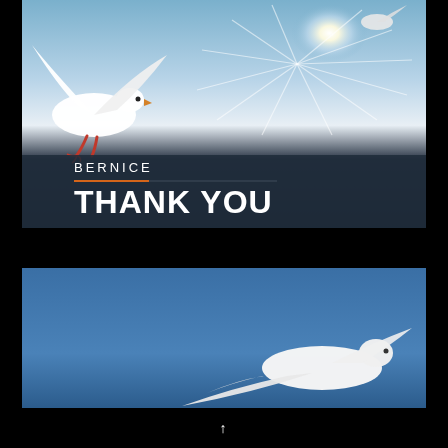[Figure (photo): White doves flying against a bright sunburst sky with blue gradient, dark foreground at bottom. Text overlay: 'BERNICE' in white caps, an orange/red horizontal line divider, and 'THANK YOU' in large bold white caps.]
[Figure (photo): White dove in flight against a clear blue sky, wings spread wide, lower portion of image.]
↑